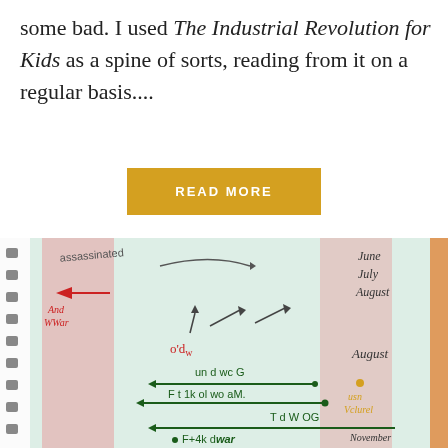some bad. I used The Industrial Revolution for Kids as a spine of sorts, reading from it on a regular basis....
READ MORE
[Figure (photo): A child's hand-drawn timeline notebook page with colored pencil markings. The spiral-bound notebook shows arrows, labels including 'assassinated', 'WWar', 'undwcG', 'Ft 1k ol wo aM', 'T d W OG', 'F+4k dwar', and dates 'June', 'July', 'August', 'November', '1915' written in green, red and yellow. Pink and green vertical bands color the page.]